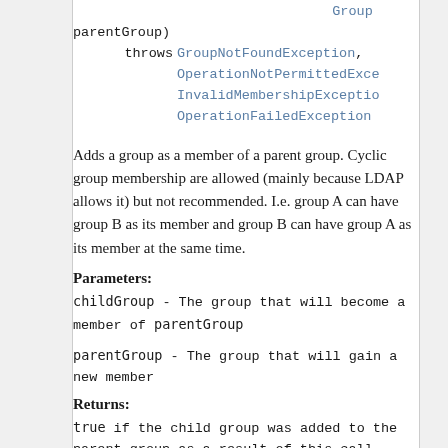Group parentGroup)
    throws GroupNotFoundException,
           OperationNotPermittedException,
           InvalidMembershipException,
           OperationFailedException
Adds a group as a member of a parent group. Cyclic group membership are allowed (mainly because LDAP allows it) but not recommended. I.e. group A can have group B as its member and group B can have group A as its member at the same time.
Parameters:
childGroup - The group that will become a member of parentGroup
parentGroup - The group that will gain a new member
Returns:
true if the child group was added to the parent group as a result of this call, false if the group is already a member of the group.